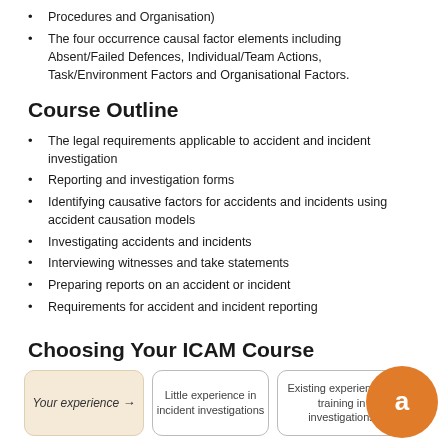Procedures and Organisation)
The four occurrence causal factor elements including Absent/Failed Defences, Individual/Team Actions, Task/Environment Factors and Organisational Factors.
Course Outline
The legal requirements applicable to accident and incident investigation
Reporting and investigation forms
Identifying causative factors for accidents and incidents using accident causation models
Investigating accidents and incidents
Interviewing witnesses and take statements
Preparing reports on an accident or incident
Requirements for accident and incident reporting
Choosing Your ICAM Course
[Figure (infographic): Three boxes showing course selection flow: 'Your experience →', 'Little experience in incident investigations', 'Existing experience or training in investigations'. An orange circular logo/icon overlaps from the right.]